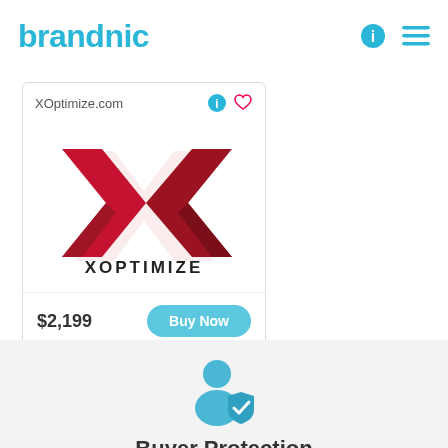brandnic
[Figure (logo): XOptimize.com domain listing card showing the XOptimize logo (red stylized X) and price $2,199 with Buy Now button]
[Figure (illustration): Blue buyer protection icon showing a person silhouette with a shield badge]
Buyer Protection
Brandnic holds payment into Escrow until domain is securely transferred.